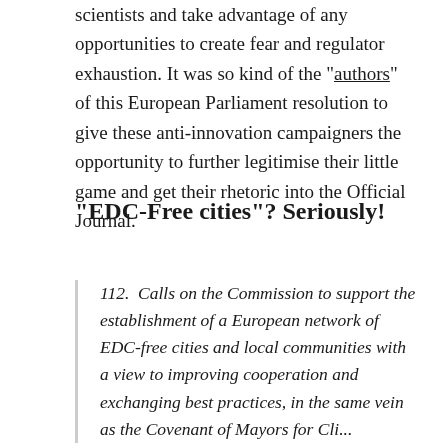scientists and take advantage of any opportunities to create fear and regulator exhaustion. It was so kind of the "authors" of this European Parliament resolution to give these anti-innovation campaigners the opportunity to further legitimise their little game and get their rhetoric into the Official Journal.
“EDC-Free cities”? Seriously!
112.  Calls on the Commission to support the establishment of a European network of EDC-free cities and local communities with a view to improving cooperation and exchanging best practices, in the same vein as the Covenant of Mayors for Climate and E...